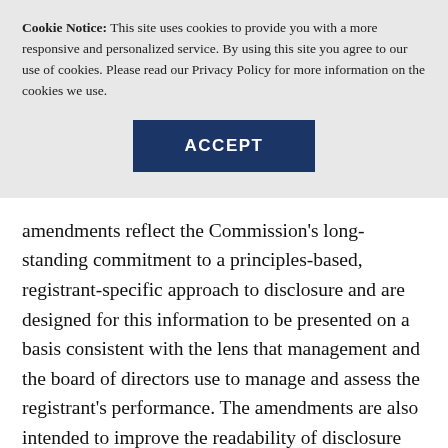Cookie Notice: This site uses cookies to provide you with a more responsive and personalized service. By using this site you agree to our use of cookies. Please read our Privacy Policy for more information on the cookies we use.
ACCEPT
amendments reflect the Commission's long-standing commitment to a principles-based, registrant-specific approach to disclosure and are designed for this information to be presented on a basis consistent with the lens that management and the board of directors use to manage and assess the registrant's performance. The amendments are also intended to improve the readability of disclosure documents, as well as discourage repetition and reduce the disclosure of information that is not material.